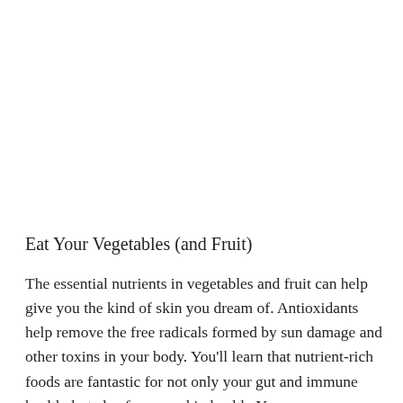Eat Your Vegetables (and Fruit)
The essential nutrients in vegetables and fruit can help give you the kind of skin you dream of. Antioxidants help remove the free radicals formed by sun damage and other toxins in your body. You'll learn that nutrient-rich foods are fantastic for not only your gut and immune health, but also for your skin health. You can even use some plants in salves, lotions, and on the skin to help with certain conditions. Think about cucumbers on the eyes in spas. It's not just because they are cool against the skin. They actually contain compounds that help to reduce inflammation and